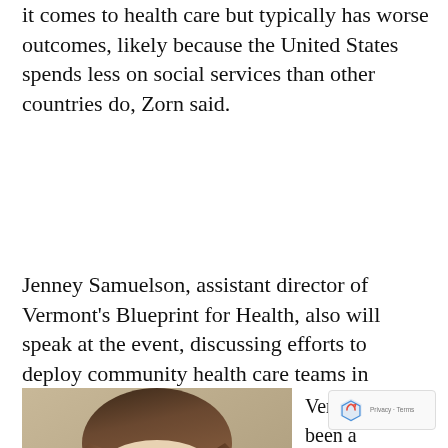it comes to health care but typically has worse outcomes, likely because the United States spends less on social services than other countries do, Zorn said.
Jenney Samuelson, assistant director of Vermont's Blueprint for Health, also will speak at the event, discussing efforts to deploy community health care teams in Vermont.
[Figure (photo): Headshot of a woman with brown hair, light complexion, looking straight at camera against a neutral background.]
Vermont has been a trailblazer in deploying community health workers to a... the various factors...